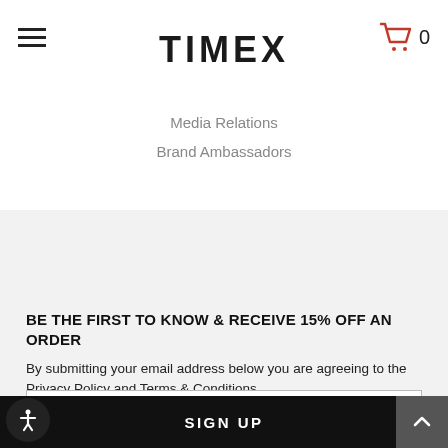TIMEX
Media Relations
Brand Ambassadors
BE THE FIRST TO KNOW & RECEIVE 15% OFF AN ORDER
By submitting your email address below you are agreeing to the Privacy Policy and Terms & Conditions.
Email
SIGN UP